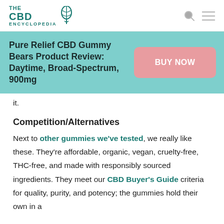THE CBD ENCYCLOPEDIA
Pure Relief CBD Gummy Bears Product Review: Daytime, Broad-Spectrum, 900mg
it.
Competition/Alternatives
Next to other gummies we've tested, we really like these. They're affordable, organic, vegan, cruelty-free, THC-free, and made with responsibly sourced ingredients. They meet our CBD Buyer's Guide criteria for quality, purity, and potency; the gummies hold their own in a